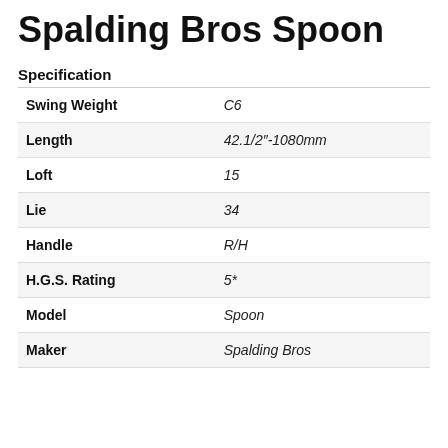Spalding Bros Spoon
Specification
|  |  |
| --- | --- |
| Swing Weight | C6 |
| Length | 42.1/2"-1080mm |
| Loft | 15 |
| Lie | 34 |
| Handle | R/H |
| H.G.S. Rating | 5* |
| Model | Spoon |
| Maker | Spalding Bros |